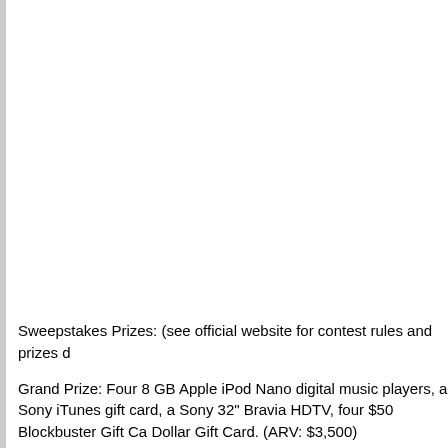Sweepstakes Prizes: (see official website for contest rules and prizes d
Grand Prize: Four 8 GB Apple iPod Nano digital music players, a Sony iTunes gift card, a Sony 32" Bravia HDTV, four $50 Blockbuster Gift Ca Dollar Gift Card. (ARV: $3,500)
1st Prizes (20): Two 8 GB Apple iPod Nano digital music players, a $50 ray Disc Player, two $50 Blockbuster Gift Cards, and a $100 Family Do